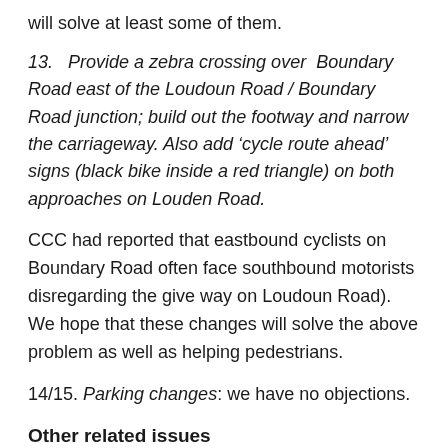will solve at least some of them.
13.  Provide a zebra crossing over Boundary Road east of the Loudoun Road / Boundary Road junction; build out the footway and narrow the carriageway. Also add 'cycle route ahead' signs (black bike inside a red triangle) on both approaches on Louden Road.
CCC had reported that eastbound cyclists on Boundary Road often face southbound motorists disregarding the give way on Loudoun Road). We hope that these changes will solve the above problem as well as helping pedestrians.
14/15. Parking changes: we have no objections.
Other related issues
A Shared footway / bike lane on Road. This is a complex...